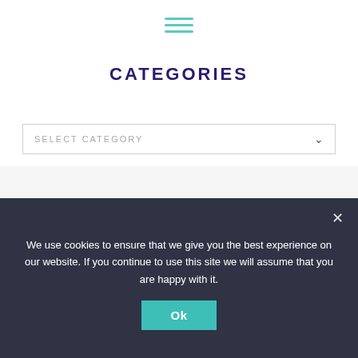[Figure (other): Hamburger menu icon with three horizontal teal lines]
CATEGORIES
SELECT CATEGORY
ARCHIVES
We use cookies to ensure that we give you the best experience on our website. If you continue to use this site we will assume that you are happy with it.
Ok